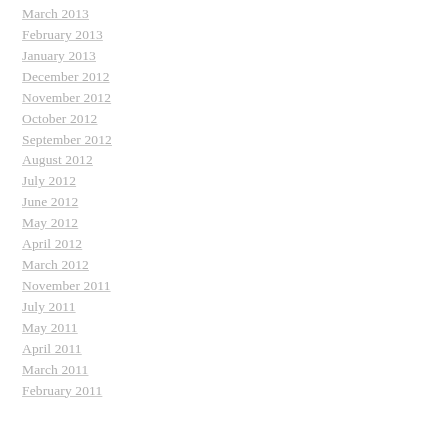March 2013
February 2013
January 2013
December 2012
November 2012
October 2012
September 2012
August 2012
July 2012
June 2012
May 2012
April 2012
March 2012
November 2011
July 2011
May 2011
April 2011
March 2011
February 2011